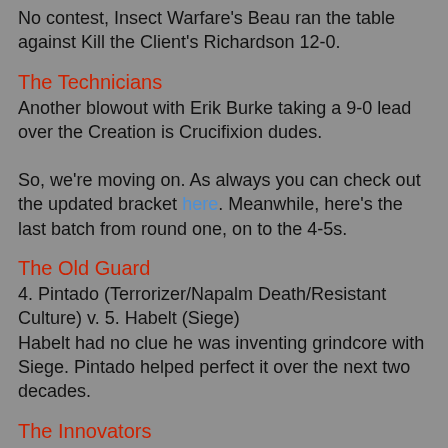No contest, Insect Warfare's Beau ran the table against Kill the Client's Richardson 12-0.
The Technicians
Another blowout with Erik Burke taking a 9-0 lead over the Creation is Crucifixion dudes.
So, we're moving on. As always you can check out the updated bracket here. Meanwhile, here's the last batch from round one, on to the 4-5s.
The Old Guard
4. Pintado (Terrorizer/Napalm Death/Resistant Culture) v. 5. Habelt (Siege)
Habelt had no clue he was inventing grindcore with Siege. Pintado helped perfect it over the next two decades.
The Innovators
4. Johnson (Enemy Soil/Drugs of Faith) v. 5. Borja (Maruta)
I've said this a lot, but Richardson has done a buttload to drag grind kicking and screaming into the future with drum